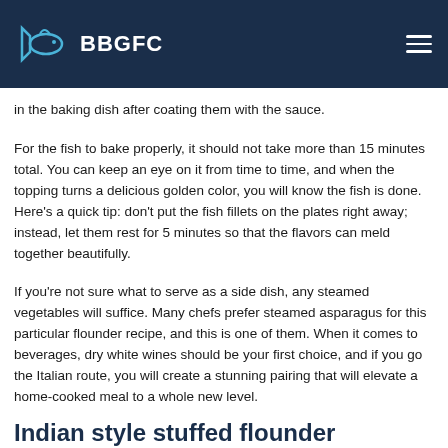BBGFC
in the baking dish after coating them with the sauce.
For the fish to bake properly, it should not take more than 15 minutes total. You can keep an eye on it from time to time, and when the topping turns a delicious golden color, you will know the fish is done. Here's a quick tip: don't put the fish fillets on the plates right away; instead, let them rest for 5 minutes so that the flavors can meld together beautifully.
If you're not sure what to serve as a side dish, any steamed vegetables will suffice. Many chefs prefer steamed asparagus for this particular flounder recipe, and this is one of them. When it comes to beverages, dry white wines should be your first choice, and if you go the Italian route, you will create a stunning pairing that will elevate a home-cooked meal to a whole new level.
Indian style stuffed flounder